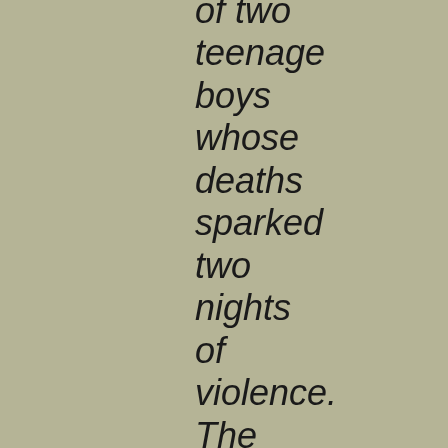of two teenage boys whose deaths sparked two nights of violence. The crowds blamed police for the deaths of the two boys, electrocuted when